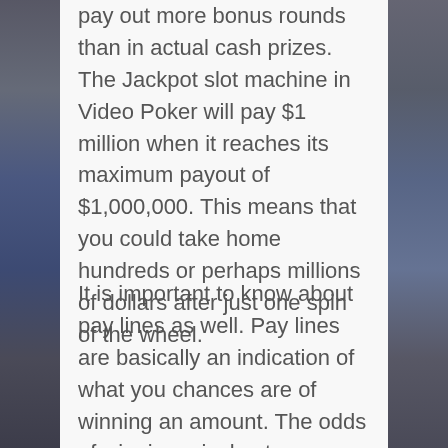pay out more bonus rounds than in actual cash prizes. The Jackpot slot machine in Video Poker will pay $1 million when it reaches its maximum payout of $1,000,000. This means that you could take home hundreds or perhaps millions of dollars after just one spin of the wheel.
It is important to know about pay lines as well. Pay lines are basically an indication of what you chances are of winning an amount. The odds of winning a jackpot are better if your pay line is more long. Some free online slots have longer pay lines than others.